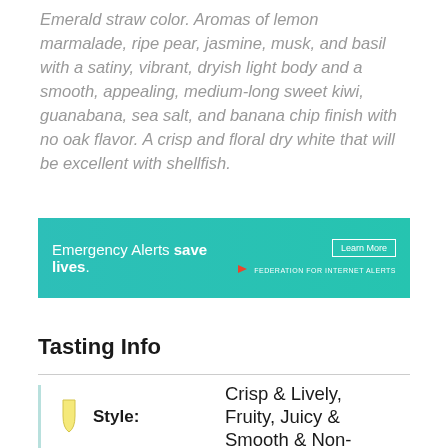Emerald straw color. Aromas of lemon marmalade, ripe pear, jasmine, musk, and basil with a satiny, vibrant, dryish light body and a smooth, appealing, medium-long sweet kiwi, guanabana, sea salt, and banana chip finish with no oak flavor. A crisp and floral dry white that will be excellent with shellfish.
[Figure (infographic): Teal/turquoise advertisement banner reading 'Emergency Alerts save lives.' with a Learn More button and Federation for Internet Alerts logo on the right.]
Tasting Info
Style: Crisp & Lively, Fruity, Juicy & Smooth & Non-